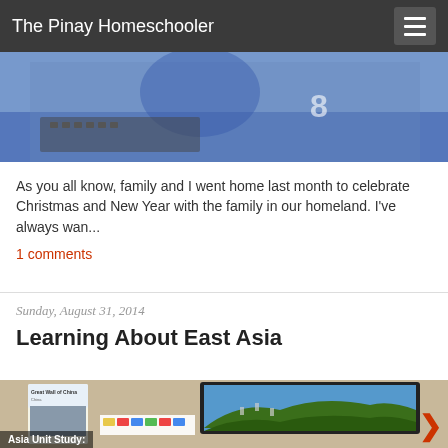The Pinay Homeschooler
[Figure (photo): Top portion of a photo showing a child with a keyboard, with watermark www.pinayhomeschooler.com]
As you all know, family and I went home last month to celebrate Christmas and New Year with the family in our homeland.  I've always wan...
1 comments
Sunday, August 31, 2014
Learning About East Asia
[Figure (photo): Photo of a Great Wall of China card/booklet, a laptop showing the Great Wall, Lego bricks arranged to represent the wall, and a label 'Asia Unit Study:']